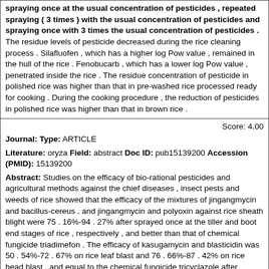spraying once at the usual concentration of pesticides , repeated spraying ( 3 times ) with the usual concentration of pesticides and spraying once with 3 times the usual concentration of pesticides . The residue levels of pesticide decreased during the rice cleaning process . Silafluofen , which has a higher log Pow value , remained in the hull of the rice . Fenobucarb , which has a lower log Pow value , penetrated inside the rice . The residue concentration of pesticide in polished rice was higher than that in pre-washed rice processed ready for cooking . During the cooking procedure , the reduction of pesticides in polished rice was higher than that in brown rice .
Score: 4.00
Journal: Type: ARTICLE
Literature: oryza Field: abstract Doc ID: pub15139200 Accession (PMID): 15139200
Abstract: Studies on the efficacy of bio-rational pesticides and agricultural methods against the chief diseases , insect pests and weeds of rice showed that the efficacy of the mixtures of jingangmycin and bacillus-cereus , and jingangmycin and polyoxin against rice sheath blight were 75 . 16%-94 . 27% after sprayed once at the tiller and boot end stages of rice , respectively , and better than that of chemical fungicide triadimefon . The efficacy of kasugamycin and blasticidin was 50 . 54%-72 . 67% on rice leaf blast and 76 . 66%-87 . 42% on rice head blast , and equal to the chemical fungicide tricyclazole after sprayed once at the initial stage of rice leaf blast occurrence and the initial and end stages of earing , respectively . The efficacy of bacillus thuringiensis on Chilo suppressalis and Cnaphalocrocis medinalis was better than that of chemical insecticide bisultap , and the efficacy of saponin-nicotine and matrine was equal to that of chemical insecticide bisultap when the three bio-rational insecticides were sprayed 1-3 times , respectively . The